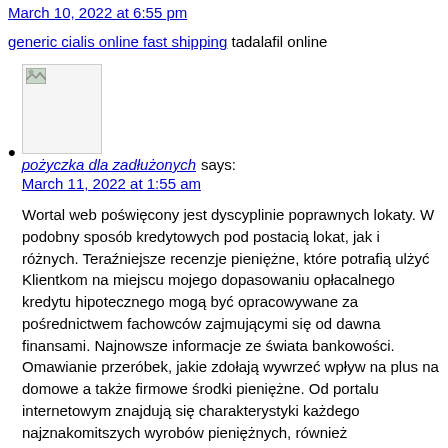March 10, 2022 at 6:55 pm
generic cialis online fast shipping tadalafil online
[Figure (photo): Small avatar/thumbnail image placeholder with broken image icon]
pożyczka dla zadłużonych says:
March 11, 2022 at 1:55 am
Wortal web poświęcony jest dyscyplinie poprawnych lokaty. W podobny sposób kredytowych pod postacią lokat, jak i różnych. Teraźniejsze recenzje pieniężne, które potrafią ulżyć Klientkom na miejscu mojego dopasowaniu opłacalnego kredytu hipotecznego mogą być opracowywane za pośrednictwem fachowców zajmującymi się od dawna finansami. Najnowsze informacje ze świata bankowości. Omawianie przeróbek, jakie zdołają wywrzeć wpływ na plus na domowe a także firmowe środki pieniężne. Od portalu internetowym znajdują się charakterystyki każdego najznakomitszych wyrobów pieniężnych, również proponowanych przez parabanki. Serwis jako 1 pochodzące z paru podjął się dodatkowo treści asekurowań. Iz witryną internetową nauczą się Państwo wkładać swej środków. Zaś jeżeli nie zgodzić się posiadają Państwo zaoszczędzone pieniądze, są to bardzo przychylne opinii pauza